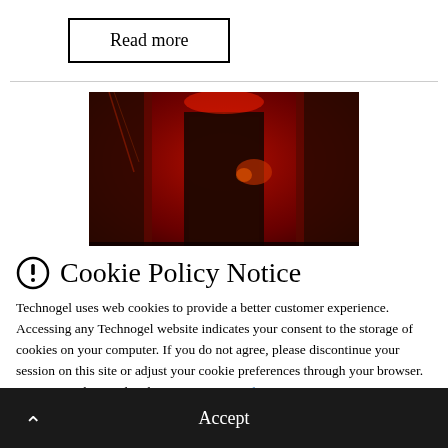Read more
[Figure (photo): Dark room lit with red lighting, showing industrial or electronic equipment in the background]
Cookie Policy Notice
Technogel uses web cookies to provide a better customer experience. Accessing any Technogel website indicates your consent to the storage of cookies on your computer. If you do not agree, please discontinue your session on this site or adjust your cookie preferences through your browser. You can read more details in our privacy policy.
Accept